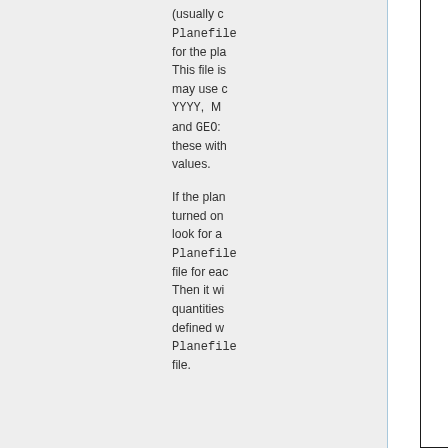(usually c Planefile for the pla This file is may use c YYYY, M and GEO: these with values.

If the plan turned on look for a Planefile file for eac Then it wi quantities defined w Planefile file.